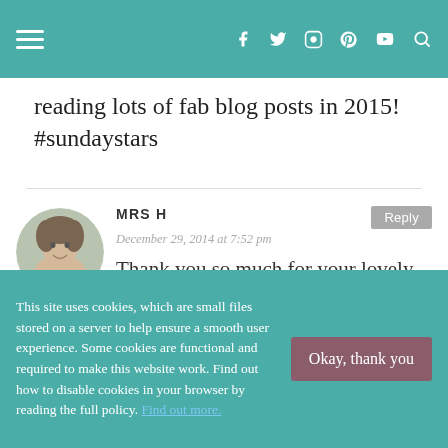[Navigation bar with hamburger menu and social icons: f, twitter, instagram, pinterest, youtube, search]
reading lots of fab blog posts in 2015! #sundaystars
MRS H — December 29, 2014 at 7:52 pm — Thank you so much for your lovely comment. I adore the little hearts too
This site uses cookies, which are small files stored on a server to help ensure a smooth user experience. Some cookies are functional and required to make this website work. Find out how to disable cookies in your browser by reading the full policy. Find out more.